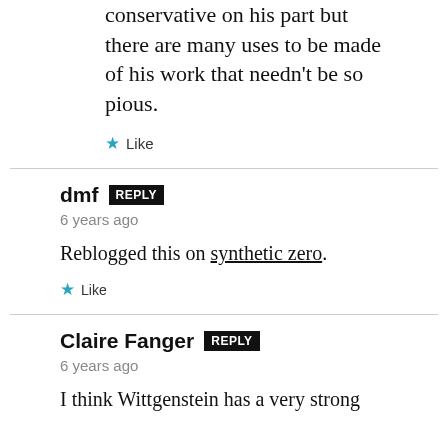conservative on his part but there are many uses to be made of his work that needn't be so pious.
★ Like
dmf REPLY
6 years ago

Reblogged this on synthetic zero.
★ Like
Claire Fanger REPLY
6 years ago

I think Wittgenstein has a very strong